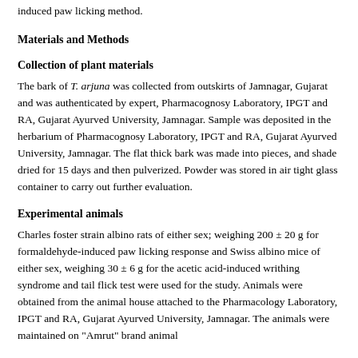induced paw licking method.
Materials and Methods
Collection of plant materials
The bark of T. arjuna was collected from outskirts of Jamnagar, Gujarat and was authenticated by expert, Pharmacognosy Laboratory, IPGT and RA, Gujarat Ayurved University, Jamnagar. Sample was deposited in the herbarium of Pharmacognosy Laboratory, IPGT and RA, Gujarat Ayurved University, Jamnagar. The flat thick bark was made into pieces, and shade dried for 15 days and then pulverized. Powder was stored in air tight glass container to carry out further evaluation.
Experimental animals
Charles foster strain albino rats of either sex; weighing 200 ± 20 g for formaldehyde-induced paw licking response and Swiss albino mice of either sex, weighing 30 ± 6 g for the acetic acid-induced writhing syndrome and tail flick test were used for the study. Animals were obtained from the animal house attached to the Pharmacology Laboratory, IPGT and RA, Gujarat Ayurved University, Jamnagar. The animals were maintained on "Amrut" brand animal